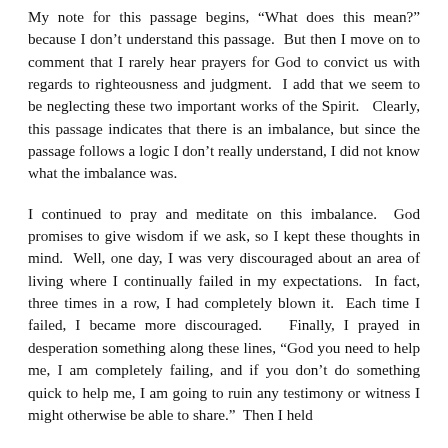My note for this passage begins, "What does this mean?" because I don't understand this passage.  But then I move on to comment that I rarely hear prayers for God to convict us with regards to righteousness and judgment.  I add that we seem to be neglecting these two important works of the Spirit.   Clearly, this passage indicates that there is an imbalance, but since the passage follows a logic I don't really understand, I did not know what the imbalance was.
I continued to pray and meditate on this imbalance.  God promises to give wisdom if we ask, so I kept these thoughts in mind.  Well, one day, I was very discouraged about an area of living where I continually failed in my expectations.  In fact, three times in a row, I had completely blown it.  Each time I failed, I became more discouraged.   Finally, I prayed in desperation something along these lines, “God you need to help me, I am completely failing, and if you don’t do something quick to help me, I am going to ruin any testimony or witness I might otherwise be able to share.”  Then I held